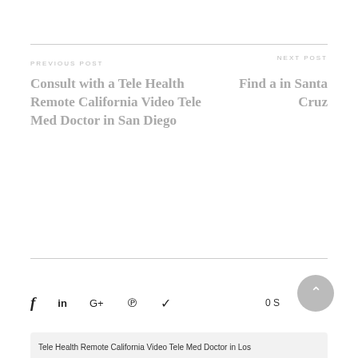PREVIOUS POST
NEXT POST
Consult with a Tele Health Remote California Video Tele Med Doctor in San Diego
Find a in Santa Cruz
0 S
Tele Health Remote California Video Tele Med Doctor in Los